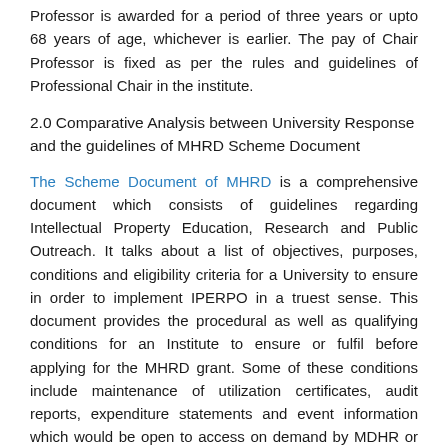Professor is awarded for a period of three years or upto 68 years of age, whichever is earlier. The pay of Chair Professor is fixed as per the rules and guidelines of Professional Chair in the institute.
2.0 Comparative Analysis between University Response and the guidelines of MHRD Scheme Document
The Scheme Document of MHRD is a comprehensive document which consists of guidelines regarding Intellectual Property Education, Research and Public Outreach. It talks about a list of objectives, purposes, conditions and eligibility criteria for a University to ensure in order to implement IPERPO in a truest sense. This document provides the procedural as well as qualifying conditions for an Institute to ensure or fulfil before applying for the MHRD grant. Some of these conditions include maintenance of utilization certificates, audit reports, expenditure statements and event information which would be open to access on demand by MDHR or Comptroller and Auditor General of India.
A. Objectives: